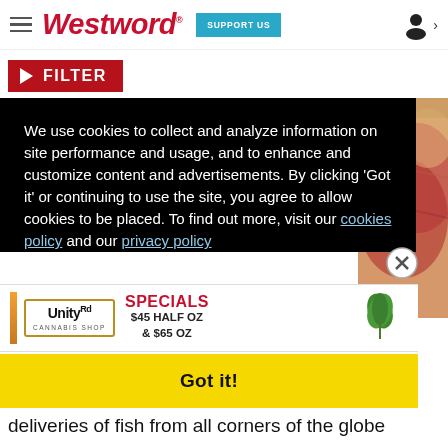Westword — SUPPORT US
▶ FILTER
We use cookies to collect and analyze information on site performance and usage, and to enhance and customize content and advertisements. By clicking 'Got it' or continuing to use the site, you agree to allow cookies to be placed. To find out more, visit our cookies policy and our privacy policy
[Figure (photo): Partial view of raw fish/sushi ingredient on right side]
[Figure (screenshot): Unity Rd Cannabis Shop advertisement banner — SPECIALS $45 HALF OZ & $65 OZ]
Got it!
nt of a
deliveries of fish from all corners of the globe